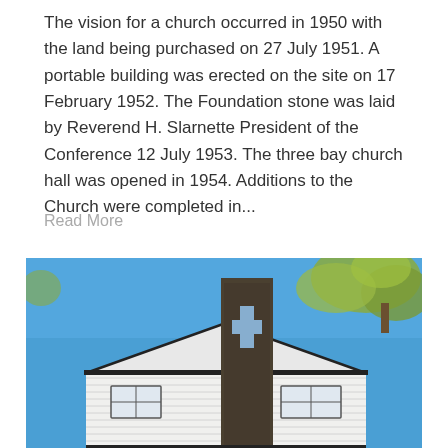The vision for a church occurred in 1950 with the land being purchased on 27 July 1951. A portable building was erected on the site on 17 February 1952. The Foundation stone was laid by Reverend H. Slarnette President of the Conference 12 July 1953. The three bay church hall was opened in 1954. Additions to the Church were completed in...
Read More
[Figure (photo): Photograph of a church building exterior taken from a low angle. The image shows a modern church with white siding, dark trim, a gabled roof, and a tall narrow dark stone or concrete tower/spire with a cross cutout near the top. Blue sky fills the background, with green leafy tree branches visible in the upper right corner.]